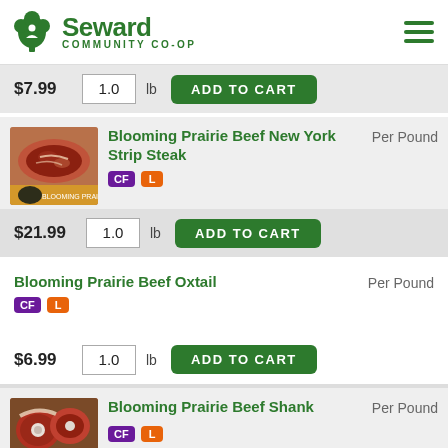Seward Community Co-op
$7.99  1.0 lb  ADD TO CART
[Figure (photo): Raw NY strip steak on a cutting board with Blooming Prairie logo]
Blooming Prairie Beef New York Strip Steak
Per Pound
CF  L
$21.99  1.0 lb  ADD TO CART
Blooming Prairie Beef Oxtail
Per Pound
CF  L
$6.99  1.0 lb  ADD TO CART
[Figure (photo): Raw beef shank cross-cut pieces with Blooming Prairie logo]
Blooming Prairie Beef Shank
Per Pound
CF  L